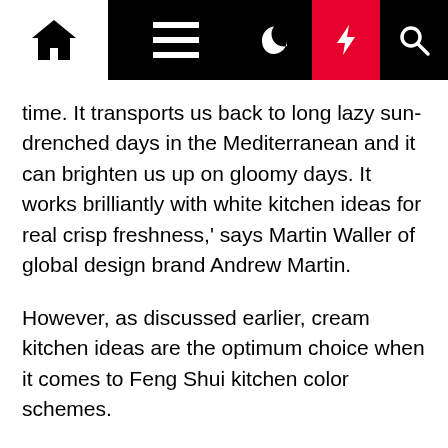Navigation bar with home, menu, moon, lightning, and search icons
time. It transports us back to long lazy sun-drenched days in the Mediterranean and it can brighten us up on gloomy days. It works brilliantly with white kitchen ideas for real crisp freshness,' says Martin Waller of global design brand Andrew Martin.
However, as discussed earlier, cream kitchen ideas are the optimum choice when it comes to Feng Shui kitchen color schemes.
Henriette Von Stockhausen of VSP Interiors agrees: 'For me, neutrals such as taupe and beige are grounding colors for walls and cabinets. It's important to remember that sometimes a classic interior is just the ticket: calm colors, gentle schemes, traditional furniture and antiques – no pattern clashes, no huge color pops, just comfort and a quiet space to relax in.'